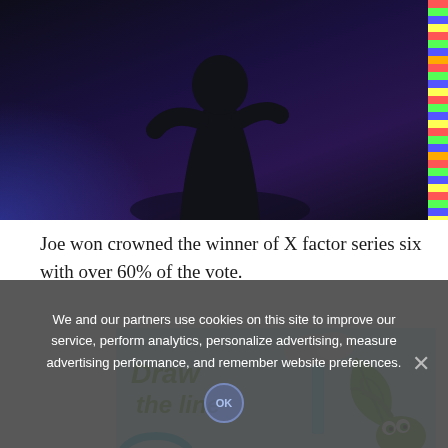[Figure (photo): A performer on stage wearing dark clothing against a dark background with purple and blue lighting, with a strip of colorful stage lights on the right side of the frame.]
Joe won crowned the winner of X factor series six with over 60% of the vote.
[Figure (illustration): Colorful illustrated advertisement with light blue background showing the text 'Draw the line' in green handwritten style font, a cloud with blue water/rain, a green leaf, and a green cartoon monster character.]
We and our partners use cookies on this site to improve our service, perform analytics, personalize advertising, measure advertising performance, and remember website preferences.